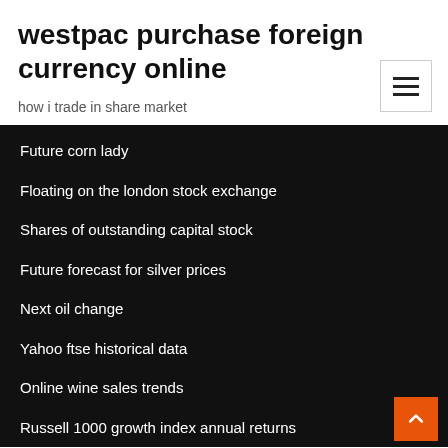westpac purchase foreign currency online
how i trade in share market
Future corn lady
Floating on the london stock exchange
Shares of outstanding capital stock
Future forecast for silver prices
Next oil change
Yahoo ftse historical data
Online wine sales trends
Russell 1000 growth index annual returns